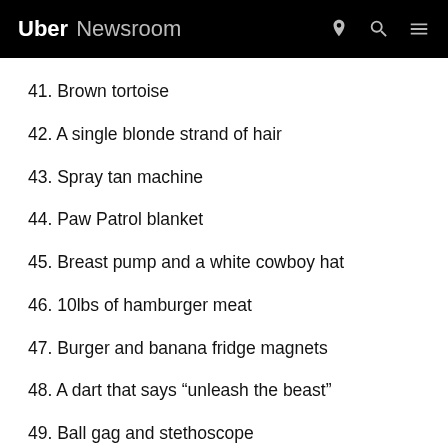Uber Newsroom
41. Brown tortoise
42. A single blonde strand of hair
43. Spray tan machine
44. Paw Patrol blanket
45. Breast pump and a white cowboy hat
46. 10lbs of hamburger meat
47. Burger and banana fridge magnets
48. A dart that says “unleash the beast”
49. Ball gag and stethoscope